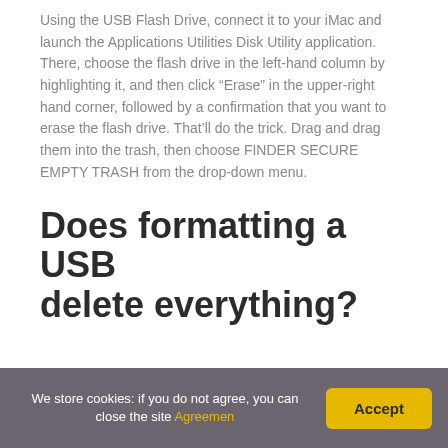Using the USB Flash Drive, connect it to your iMac and launch the Applications Utilities Disk Utility application. There, choose the flash drive in the left-hand column by highlighting it, and then click “Erase” in the upper-right hand corner, followed by a confirmation that you want to erase the flash drive. That’ll do the trick. Drag and drag them into the trash, then choose FINDER SECURE EMPTY TRASH from the drop-down menu.
Does formatting a USB delete everything?
We store cookies: if you do not agree, you can close the site Agreemen